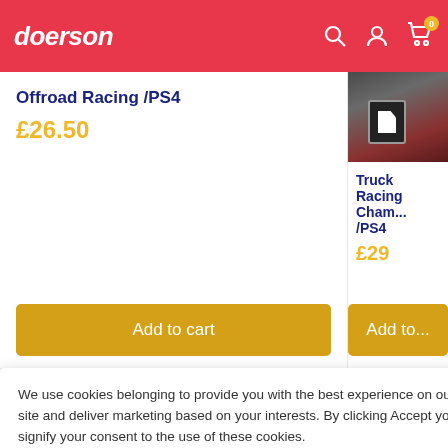doerson — navigation header with search, account, and cart icons
Offroad Racing /PS4
£26.50
[Figure (photo): Partial view of a dark game cover image with reddish tones]
Truck Racing Cham... /PS4
£29
Add to cart
Add to
We use cookies belonging to provide you with the best experience on our site and deliver marketing based on your interests. By clicking Accept you signify your consent to the use of these cookies.
Accept
Just place an order above £20 and we will deliver as soon as...